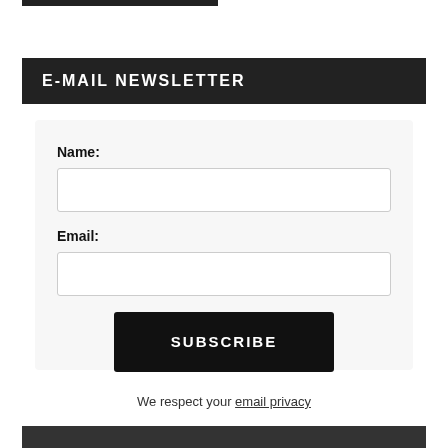E-MAIL NEWSLETTER
Name:
Email:
SUBSCRIBE
We respect your email privacy